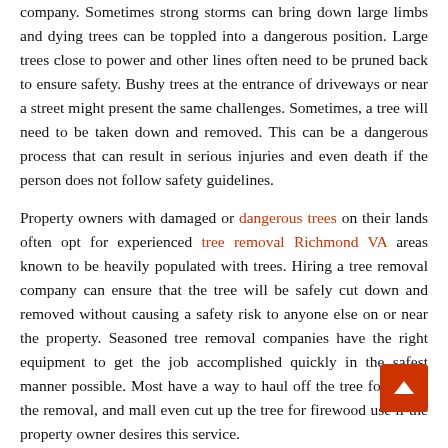company. Sometimes strong storms can bring down large limbs and dying trees can be toppled into a dangerous position. Large trees close to power and other lines often need to be pruned back to ensure safety. Bushy trees at the entrance of driveways or near a street might present the same challenges. Sometimes, a tree will need to be taken down and removed. This can be a dangerous process that can result in serious injuries and even death if the person does not follow safety guidelines.
Property owners with damaged or dangerous trees on their lands often opt for experienced tree removal Richmond VA areas known to be heavily populated with trees. Hiring a tree removal company can ensure that the tree will be safely cut down and removed without causing a safety risk to anyone else on or near the property. Seasoned tree removal companies have the right equipment to get the job accomplished quickly in the safest manner possible. Most have a way to haul off the tree following the removal, and may even cut up the tree for firewood use if the property owner desires this service.